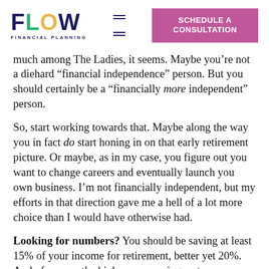FLOW FINANCIAL PLANNING | SCHEDULE A CONSULTATION
much among The Ladies, it seems. Maybe you’re not a diehard “financial independence” person. But you should certainly be a “financially more independent” person.
So, start working towards that. Maybe along the way you in fact do start honing in on that early retirement picture. Or maybe, as in my case, you figure out you want to change careers and eventually launch you own business. I’m not financially independent, but my efforts in that direction gave me a hell of a lot more choice than I would have otherwise had.
Looking for numbers? You should be saving at least 15% of your income for retirement, better yet 20%. And of course, the higher your savings rate,